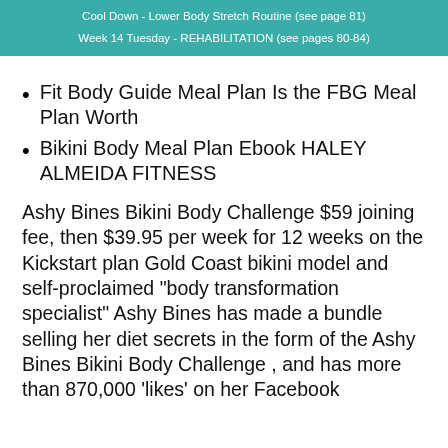Cool Down - Lower Body Stretch Routine (see page 81)
Week 14 Tuesday - REHABILITATION (see pages 80-84)
Fit Body Guide Meal Plan Is the FBG Meal Plan Worth
Bikini Body Meal Plan Ebook HALEY ALMEIDA FITNESS
Ashy Bines Bikini Body Challenge $59 joining fee, then $39.95 per week for 12 weeks on the Kickstart plan Gold Coast bikini model and self-proclaimed "body transformation specialist" Ashy Bines has made a bundle selling her diet secrets in the form of the Ashy Bines Bikini Body Challenge , and has more than 870,000 'likes' on her Facebook